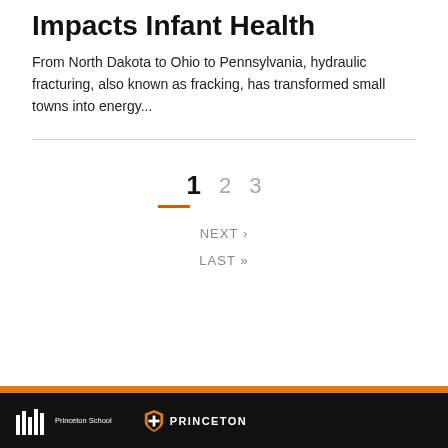Impacts Infant Health
From North Dakota to Ohio to Pennsylvania, hydraulic fracturing, also known as fracking, has transformed small towns into energy...
1  2  3
NEXT ›
LAST »
Princeton School  PRINCETON